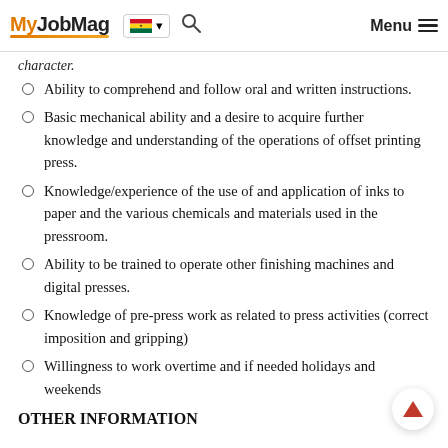MyJobMag [Ghana flag] Menu
character.
Ability to comprehend and follow oral and written instructions.
Basic mechanical ability and a desire to acquire further knowledge and understanding of the operations of offset printing press.
Knowledge/experience of the use of and application of inks to paper and the various chemicals and materials used in the pressroom.
Ability to be trained to operate other finishing machines and digital presses.
Knowledge of pre-press work as related to press activities (correct imposition and gripping)
Willingness to work overtime and if needed holidays and weekends
OTHER INFORMATION